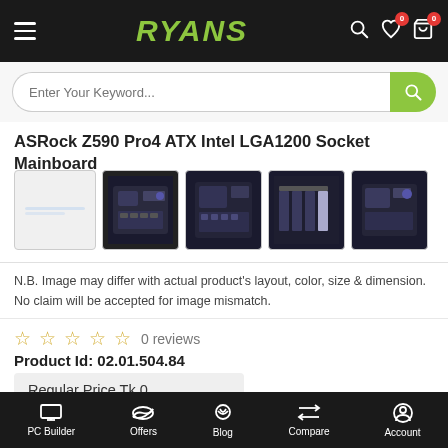RYANS
ASRock Z590 Pro4 ATX Intel LGA1200 Socket Mainboard
[Figure (photo): Product thumbnails: one placeholder and four images of ASRock Z590 Pro4 mainboard from different angles]
N.B. Image may differ with actual product's layout, color, size & dimension. No claim will be accepted for image mismatch.
0 reviews
Product Id: 02.01.504.84
Regular Price Tk 0
Special Price Tk 0
Out Of Stock
PC Builder | Offers | Blog | Compare | Account